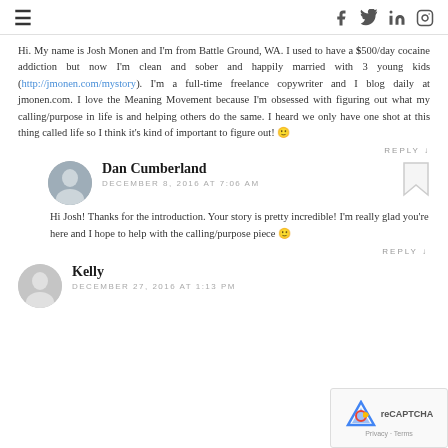≡ [social icons: facebook, twitter, linkedin, instagram]
Hi. My name is Josh Monen and I'm from Battle Ground, WA. I used to have a $500/day cocaine addiction but now I'm clean and sober and happily married with 3 young kids (http://jmonen.com/mystory). I'm a full-time freelance copywriter and I blog daily at jmonen.com. I love the Meaning Movement because I'm obsessed with figuring out what my calling/purpose in life is and helping others do the same. I heard we only have one shot at this thing called life so I think it's kind of important to figure out! 🙂
REPLY ↓
Dan Cumberland
DECEMBER 8, 2016 AT 7:06 AM
Hi Josh! Thanks for the introduction. Your story is pretty incredible! I'm really glad you're here and I hope to help with the calling/purpose piece 🙂
REPLY ↓
Kelly
DECEMBER 27, 2016 AT 1:13 PM